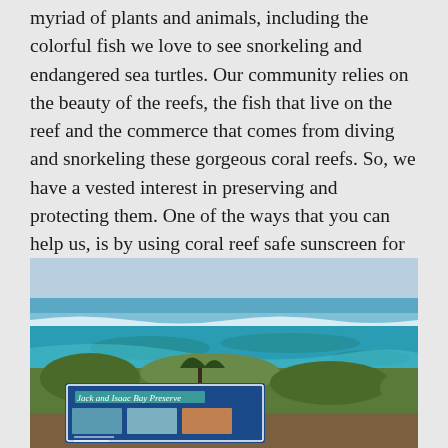myriad of plants and animals, including the colorful fish we love to see snorkeling and endangered sea turtles. Our community relies on the beauty of the reefs, the fish that live on the reef and the commerce that comes from diving and snorkeling these gorgeous coral reefs. So, we have a vested interest in preserving and protecting them. One of the ways that you can help us, is by using coral reef safe sunscreen for sun protection while on our island and in our waters.
[Figure (photo): Aerial/elevated view of turquoise ocean with coral reef visible beneath, green coastal vegetation in foreground, and a blue informational sign for 'Jack and Isaac Bay Preserve' with photo panels visible in lower portion of image.]